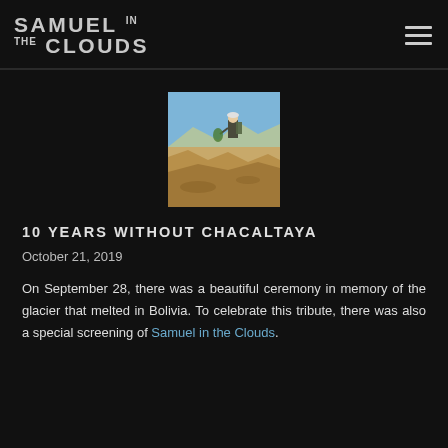SAMUEL IN THE CLOUDS
[Figure (photo): A person standing on a high-altitude arid mountain landscape with blue sky in the background, Chacaltaya Bolivia]
10 YEARS WITHOUT CHACALTAYA
October 21, 2019
On September 28, there was a beautiful ceremony in memory of the glacier that melted in Bolivia. To celebrate this tribute, there was also a special screening of Samuel in the Clouds.